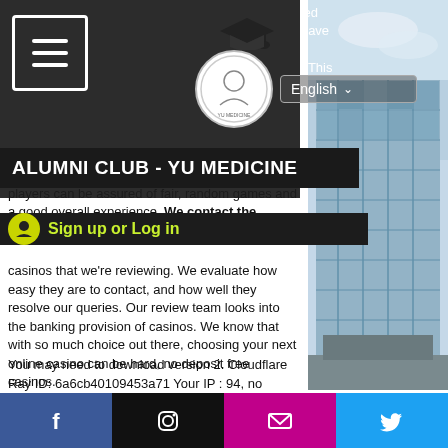ALUMNI CLUB - YU MEDICINE
We make sure that our recommended online casinos are trustworthy and have been licensed by the required authorities, no deposit free casinos. This means that players can be assured of fair, random games and a good overall experience. We contact the customer support teams of casinos that we're reviewing. We evaluate how easy they are to contact, and how well they resolve our queries. Our review team looks into the banking provision of casinos. We know that with so much choice out there, choosing your next online casino can be hard, no deposit free casinos.
You may need to download version 2. Cloudflare Ray ID: 6a6cb40109453a71 Your IP : 94, no deposit free casinos. FanDuel Casino - Real Money. Download FanDuel Casino - Real Money APK for Android - Free
Facebook | Instagram | Email | Twitter